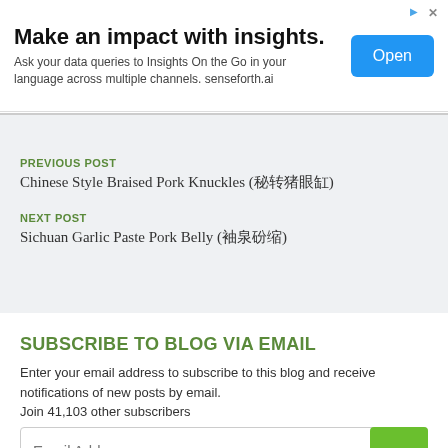[Figure (other): Advertisement banner: 'Make an impact with insights.' with Open button]
Chinese Style Braised Pork Knuckles (红烧猪蹄)
Sichuan Garlic Paste Pork Belly (蒜泥白肉)
SUBSCRIBE TO BLOG VIA EMAIL
Enter your email address to subscribe to this blog and receive notifications of new posts by email.
Join 41,103 other subscribers